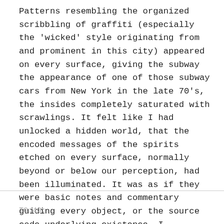Patterns resembling the organized scribbling of graffiti (especially the 'wicked' style originating from and prominent in this city) appeared on every surface, giving the subway the appearance of one of those subway cars from New York in the late 70's, the insides completely saturated with scrawlings. It felt like I had unlocked a hidden world, that the encoded messages of the spirits etched on every surface, normally beyond or below our perception, had been illuminated. It was as if they were basic notes and commentary guiding every object, or the source code underlying existence. I entertained this idea for a bit, letting it chew on my mind and enter the territory of full delusion that normally only arises from dissociatives. The sounds of the train shooting through the tunnels are spectacular and entertaining, further adding to the cyberpunk surreality I have subjected myself to. It definitely feels worth it now.
T0:40: